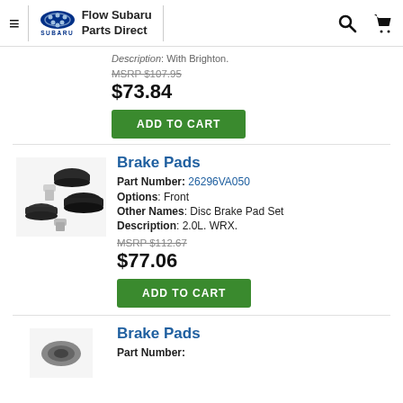Flow Subaru Parts Direct
Description: With Brighton.
MSRP $107.95
$73.84
ADD TO CART
Brake Pads
Part Number: 26296VA050
Options: Front
Other Names: Disc Brake Pad Set
Description: 2.0L. WRX.
MSRP $112.67
$77.06
ADD TO CART
Brake Pads
Part Number: